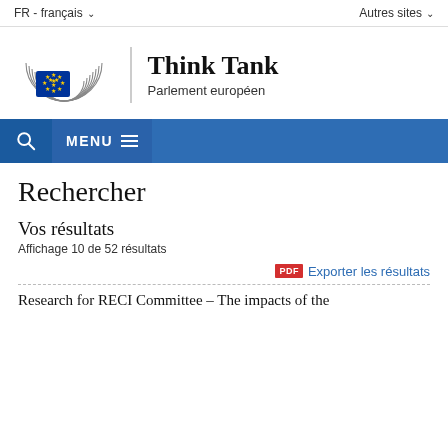FR - français   Autres sites
[Figure (logo): European Parliament Think Tank logo with EP circular emblem and blue EU flag star circle, with text 'Think Tank' and 'Parlement européen']
Think Tank
Parlement européen
🔍  MENU ☰
Rechercher
Vos résultats
Affichage 10 de 52 résultats
PDF  Exporter les résultats
Research for RECI Committee – The impacts of the